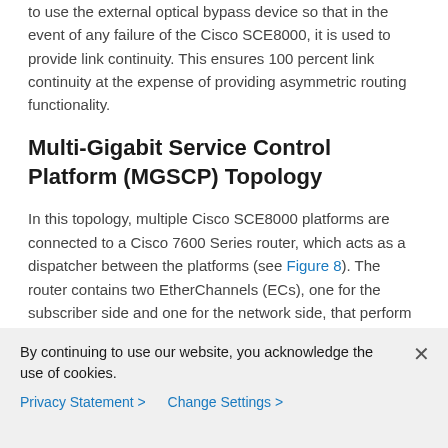to use the external optical bypass device so that in the event of any failure of the Cisco SCE8000, it is used to provide link continuity. This ensures 100 percent link continuity at the expense of providing asymmetric routing functionality.
Multi-Gigabit Service Control Platform (MGSCP) Topology
In this topology, multiple Cisco SCE8000 platforms are connected to a Cisco 7600 Series router, which acts as a dispatcher between the platforms (see Figure 8). The router contains two EtherChannels (ECs), one for the subscriber side and one for the network side, that perform load balancing for the SCE platform traffic. Traffic enters the first router, is distributed between the SCE platforms by the subscriber-side EC, and then returns to the router so it can
By continuing to use our website, you acknowledge the use of cookies.
Privacy Statement > Change Settings >